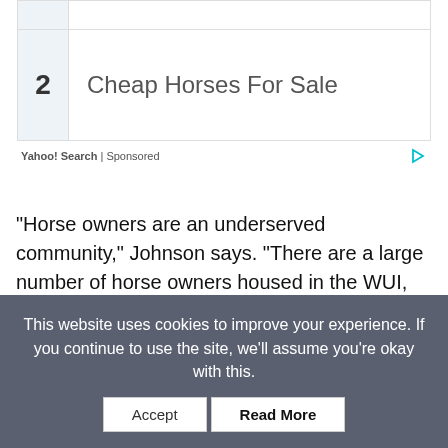[Figure (screenshot): Advertisement unit showing number 2 and 'Cheap Horses For Sale' with Yahoo! Search | Sponsored label and ad icon]
“Horse owners are an underserved community,” Johnson says. “There are a large number of horse owners housed in the WUI, and it’s often up to them to figure out how to be better prepared (for wildfire) and manage their own evacuation. Horse owners need to make plans in advance, not just for evacuation but so they lower their (wildfire) risk.”
This website uses cookies to improve your experience. If you continue to use the site, we’ll assume you’re okay with this.
Accept   Read More